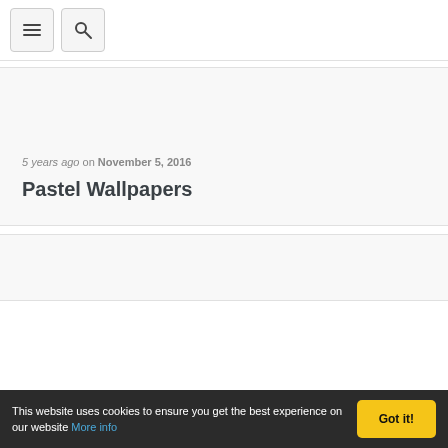[navigation bar with menu and search buttons]
5 years ago on November 5, 2016
Pastel Wallpapers
[second card area]
This website uses cookies to ensure you get the best experience on our website More info | Got it!